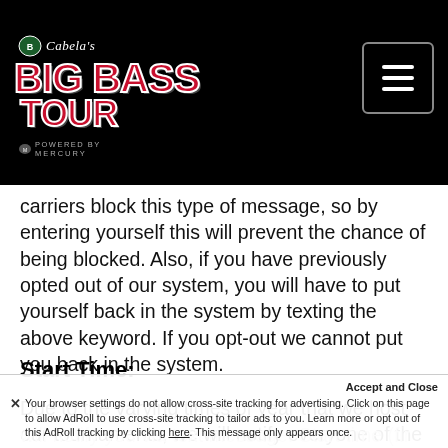[Figure (logo): Bass Pro Shops / Cabela's Big Bass Tour logo on black background with menu icon]
carriers block this type of message, so by entering yourself this will prevent the chance of being blocked. Also, if you have previously opted out of our system, you will have to put yourself back in the system by texting the above keyword. If you opt-out we cannot put you back in the system.
Start Time:
Due to the varying times of year that we host our tournaments, we will notify everyone of the start time the day prior to the start of the tournament. We will notify you via text message. Start time (fir...
Accept and Close
✕ Your browser settings do not allow cross-site tracking for advertising. Click on this page to allow AdRoll to use cross-site tracking to tailor ads to you. Learn more or opt out of this AdRoll tracking by clicking here. This message only appears once.